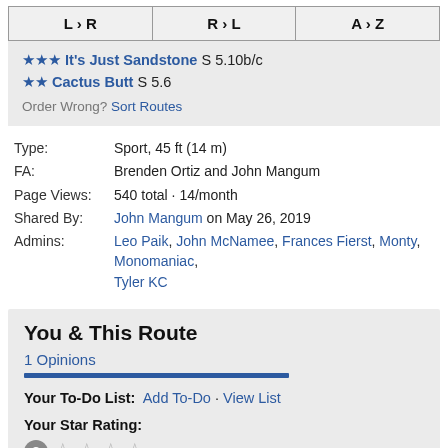| L › R | R › L | A › Z |
| --- | --- | --- |
★★★ It's Just Sandstone S 5.10b/c
★★ Cactus Butt S 5.6
Order Wrong? Sort Routes
Type: Sport, 45 ft (14 m)
FA: Brenden Ortiz and John Mangum
Page Views: 540 total · 14/month
Shared By: John Mangum on May 26, 2019
Admins: Leo Paik, John McNamee, Frances Fierst, Monty, Monomaniac, Tyler KC
You & This Route
1 Opinions
Your To-Do List: Add To-Do · View List
Your Star Rating:
Your Difficulty Rating: